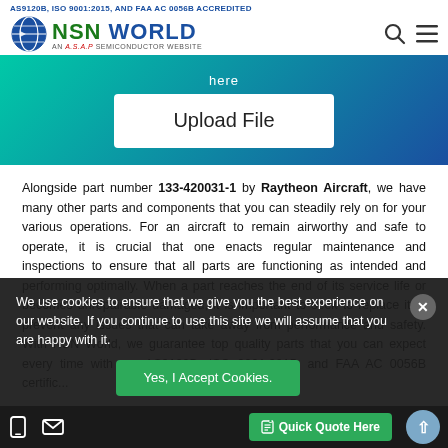AS9120B, ISO 9001:2015, AND FAA AC 0056B ACCREDITED
[Figure (logo): NSN World logo - globe icon with NSN WORLD text and AN A.S.A.P SEMICONDUCTOR WEBSITE tagline]
[Figure (screenshot): Upload File button on teal-to-navy gradient background]
Alongside part number 133-420031-1 by Raytheon Aircraft, we have many other parts and components that you can steadily rely on for your various operations. For an aircraft to remain airworthy and safe to operate, it is crucial that one enacts regular maintenance and inspections to ensure that all parts are functioning as intended and performing optimally. When a part reaches the end of its service life or becomes unrepairable damaged, it is imperative to seek to replace it to prevent any issues that can take away from performance and safety. With NSN World, we guarantee top quality parts that you can expect every time with our AS9120B, ISO 9001:2015, and FAA AC 0056B certifications
We use cookies to ensure that we give you the best experience on our website. If you continue to use this site we will assume that you are happy with it.
Yes, I Accept Cookies.
Quick Quote Here